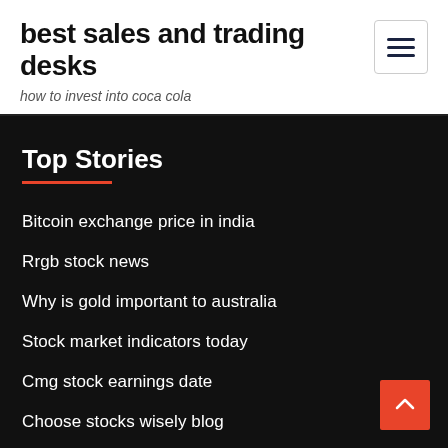best sales and trading desks
how to invest into coca cola
Top Stories
Bitcoin exchange price in india
Rrgb stock news
Why is gold important to australia
Stock market indicators today
Cmg stock earnings date
Choose stocks wisely blog
House price chart los angeles